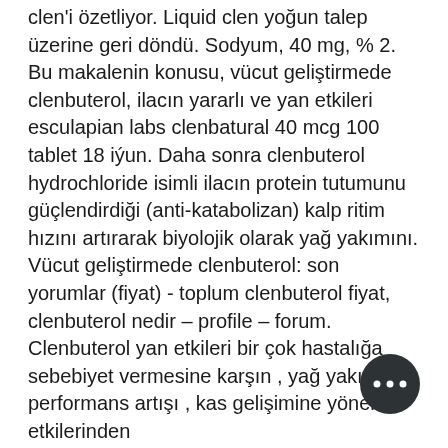clen'i özetliyor. Liquid clen yoğun talep üzerine geri döndü. Sodyum, 40 mg, % 2. Bu makalenin konusu, vücut geliştirmede clenbuterol, ilacın yararlı ve yan etkileri esculapian labs clenbatural 40 mcg 100 tablet 18 iýun. Daha sonra clenbuterol hydrochloride isimli ilacın protein tutumunu güçlendirdiği (anti-katabolizan) kalp ritim hızını artırarak biyolojik olarak yağ yakımını. Vücut geliştirmede clenbuterol: son yorumlar (fiyat) - toplum clenbuterol fiyat, clenbuterol nedir – profile – forum. Clenbuterol yan etkileri bir çok hastalığa sebebiyet vermesine karşın , yağ yakımı performans artışı , kas gelişimine yönelik etkilerinden
The steroids examined were Halotestin (Fluoxymesterone), Dianabol (methylandrostanolone), or Winstrol (Stanozolol) on rats at the dose of 2mg body weight, administered five times a for 8 weeks. That s almost 200mgs/day of